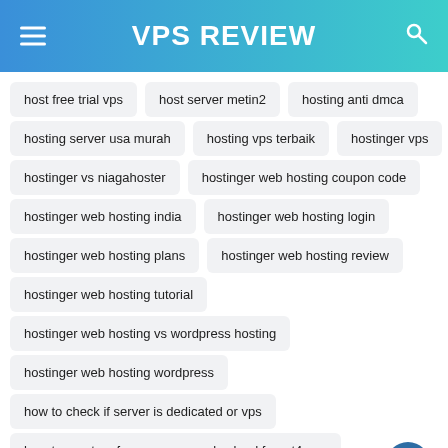VPS REVIEW
host free trial vps
host server metin2
hosting anti dmca
hosting server usa murah
hosting vps terbaik
hostinger vps
hostinger vs niagahoster
hostinger web hosting coupon code
hostinger web hosting india
hostinger web hosting login
hostinger web hosting plans
hostinger web hosting review
hostinger web hosting tutorial
hostinger web hosting vs wordpress hosting
hostinger web hosting wordpress
how to check if server is dedicated or vps
how to create a free vps on google cloud for mt4 eas
how to make a vps server on windows
how to setup vps on google cloud